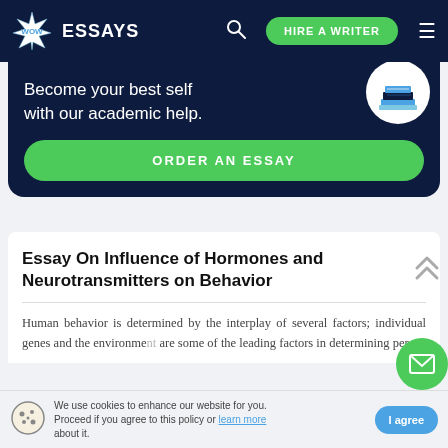WOW ESSAYS | HIRE A WRITER
[Figure (illustration): Dark navy hero banner with books illustration, tagline 'Become your best self with our academic help.' and green ORDER AN ESSAY button]
Essay On Influence of Hormones and Neurotransmitters on Behavior
Human behavior is determined by the interplay of several factors; individual genes and the environment are some of the leading factors in determining per…
We use cookies to enhance our website for you. Proceed if you agree to this policy or learn more about it.